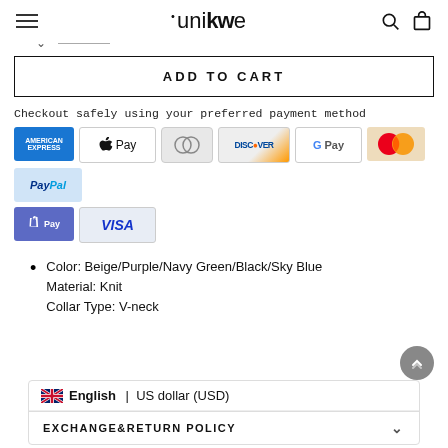unikwe
ADD TO CART
Checkout safely using your preferred payment method
[Figure (other): Payment method icons: American Express, Apple Pay, Diners Club, Discover, Google Pay, Mastercard, PayPal, Shop Pay, Visa]
Color: Beige/Purple/Navy Green/Black/Sky Blue
Material: Knit
Collar Type: V-neck
🇬🇧 English | US dollar (USD)
EXCHANGE&RETURN POLICY